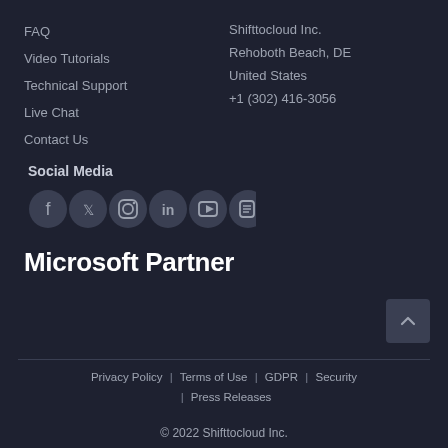FAQ
Video Tutorials
Technical Support
Live Chat
Contact Us
Shifttocloud Inc.
Rehoboth Beach, DE
United States
+1 (302) 416-3056
Social Media
[Figure (illustration): Social media icons: Facebook, Twitter, Instagram, LinkedIn, YouTube, Blogger]
Microsoft Partner
Privacy Policy | Terms of Use | GDPR | Security | Press Releases
© 2022 Shifttocloud Inc.